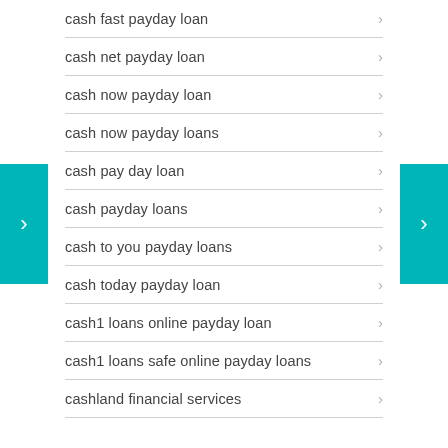cash fast payday loan
cash net payday loan
cash now payday loan
cash now payday loans
cash pay day loan
cash payday loans
cash to you payday loans
cash today payday loan
cash1 loans online payday loan
cash1 loans safe online payday loans
cashland financial services